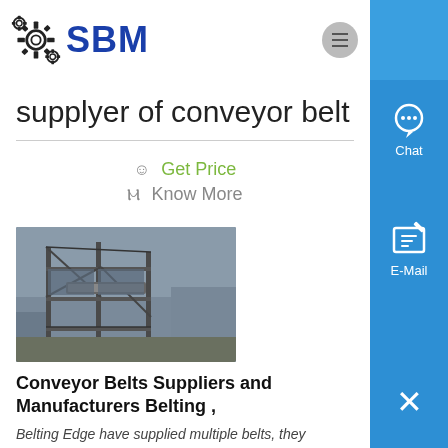[Figure (logo): SBM logo with gear icons on the left and blue SBM text]
supplyer of conveyor belt
Get Price
Know More
[Figure (photo): Industrial mining conveyor belt structure with steel framework]
Conveyor Belts Suppliers and Manufacturers Belting ,
Belting Edge have supplied multiple belts, they